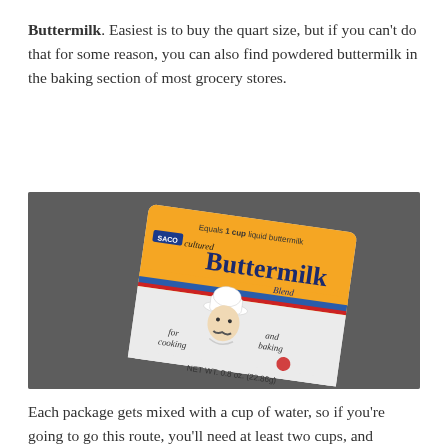Buttermilk.  Easiest is to buy the quart size, but if you can't do that for some reason, you can also find powdered buttermilk in the baking section of most grocery stores.
[Figure (photo): A packet of Saco brand cultured Buttermilk Blend powder on a gray surface. The packet is orange and white with an illustration of a chef. Text reads: 'Equals 1 cup liquid buttermilk', 'for cooking and baking', 'NET WT. 0.8 oz. (22.86g)']
Each package gets mixed with a cup of water, so if you're going to go this route, you'll need at least two cups, and